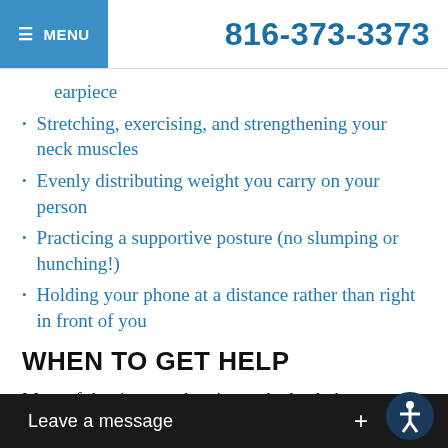≡ MENU | 816-373-3373
earpiece
Stretching, exercising, and strengthening your neck muscles
Evenly distributing weight you carry on your person
Practicing a supportive posture (no slumping or hunching!)
Holding your phone at a distance rather than right in front of you
WHEN TO GET HELP
Most of the time, neck pain can be healed over a short period of time with rest, ice or heat treatment, over the counter pain medication, and gentle stretches. However, it is important to seek professional help if you experience numbness, tingling...